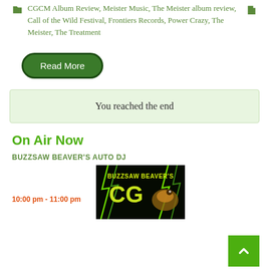CGCM Album Review, Meister Music, The Meister album review, Call of the Wild Festival, Frontiers Records, Power Crazy, The Meister, The Treatment
Read More
You reached the end
On Air Now
BUZZSAW BEAVER'S AUTO DJ
10:00 pm - 11:00 pm
[Figure (photo): Buzzsaw Beaver's CGCM radio show promotional image with lightning background]